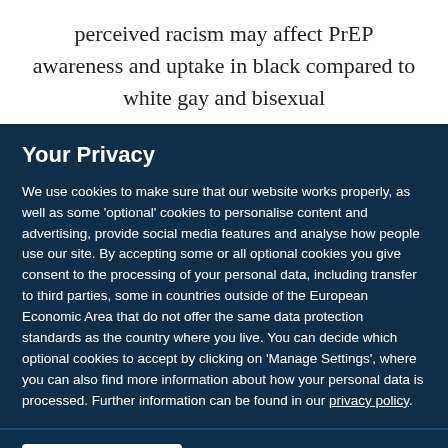perceived racism may affect PrEP awareness and uptake in black compared to white gay and bisexual
Your Privacy
We use cookies to make sure that our website works properly, as well as some 'optional' cookies to personalise content and advertising, provide social media features and analyse how people use our site. By accepting some or all optional cookies you give consent to the processing of your personal data, including transfer to third parties, some in countries outside of the European Economic Area that do not offer the same data protection standards as the country where you live. You can decide which optional cookies to accept by clicking on 'Manage Settings', where you can also find more information about how your personal data is processed. Further information can be found in our privacy policy.
Accept all cookies
Manage preferences